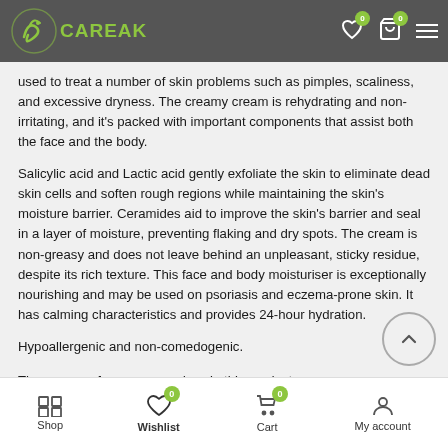CAREAK — navigation bar with logo, wishlist, cart, and menu
used to treat a number of skin problems such as pimples, scaliness, and excessive dryness. The creamy cream is rehydrating and non-irritating, and it's packed with important components that assist both the face and the body.
Salicylic acid and Lactic acid gently exfoliate the skin to eliminate dead skin cells and soften rough regions while maintaining the skin's moisture barrier. Ceramides aid to improve the skin's barrier and seal in a layer of moisture, preventing flaking and dry spots. The cream is non-greasy and does not leave behind an unpleasant, sticky residue, despite its rich texture. This face and body moisturiser is exceptionally nourishing and may be used on psoriasis and eczema-prone skin. It has calming characteristics and provides 24-hour hydration.
Hypoallergenic and non-comedogenic.
There are no fragrances or dyes in this product.
Shop | Wishlist 0 | Cart 0 | My account